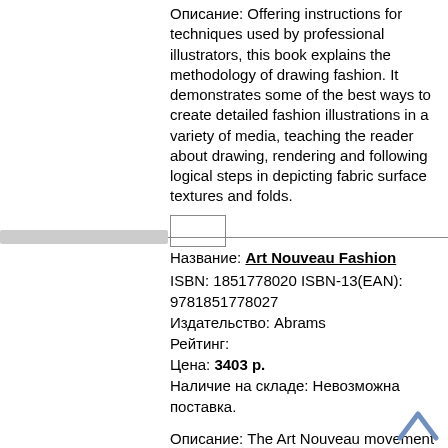Описание: Offering instructions for techniques used by professional illustrators, this book explains the methodology of drawing fashion. It demonstrates some of the best ways to create detailed fashion illustrations in a variety of media, teaching the reader about drawing, rendering and following logical steps in depicting fabric surface textures and folds.
Название: Art Nouveau Fashion
ISBN: 1851778020 ISBN-13(EAN): 9781851778027
Издательство: Abrams
Рейтинг:
Цена: 3403 р.
Наличие на складе: Невозможна поставка.
Описание: The Art Nouveau movement overlapped with late Arts and Crafts in the 1890s and early modernism in the 1910s, combining the exquisite workmanship and natural forms of the former with the innovative materials, forms and practices associated with the latter. Art Nouveau